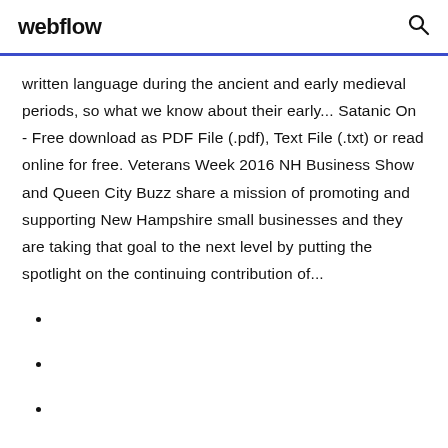webflow
written language during the ancient and early medieval periods, so what we know about their early... Satanic On - Free download as PDF File (.pdf), Text File (.txt) or read online for free. Veterans Week 2016 NH Business Show and Queen City Buzz share a mission of promoting and supporting New Hampshire small businesses and they are taking that goal to the next level by putting the spotlight on the continuing contribution of...